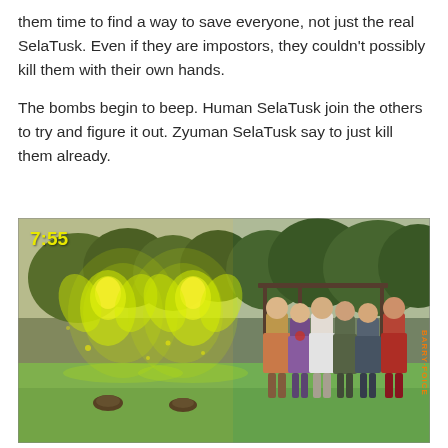them time to find a way to save everyone, not just the real SelaTusk. Even if they are impostors, they couldn't possibly kill them with their own hands.

The bombs begin to beep. Human SelaTusk join the others to try and figure it out. Zyuman SelaTusk say to just kill them already.
[Figure (screenshot): A scene from a Japanese tokusatsu TV show. On the left side, two glowing yellow-green energy figures appear in a park setting with trees and a shelter structure. On the right, five costumed characters stand watching. A timestamp '7:55' appears in bright yellow in the upper left of the image. A vertical watermark in orange text appears on the right edge.]